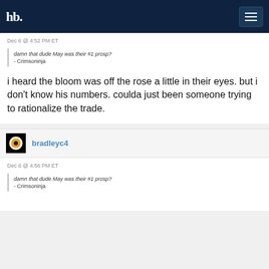hb. [logo] [menu button]
Dec 6 @ 4:52 PM ET
damn that dude May was their #1 prosp?
- Crimsoninja
i heard the bloom was off the rose a little in their eyes. but i don't know his numbers. coulda just been someone trying to rationalize the trade.
bradleyc4
Dec 6 @ 4:56 PM ET
damn that dude May was their #1 prosp?
- Crimsoninja